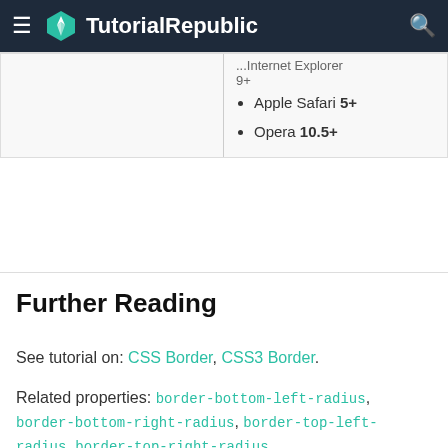TutorialRepublic
|  | ...Internet Explorer 9+
• Apple Safari 5+
• Opera 10.5+ |
Further Reading
See tutorial on: CSS Border, CSS3 Border.
Related properties: border-bottom-left-radius, border-bottom-right-radius, border-top-left-radius, border-top-right-radius